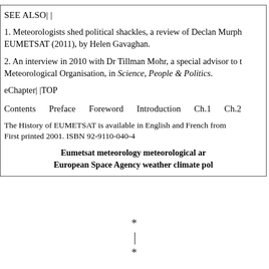SEE ALSO| |
1. Meteorologists shed political shackles, a review of Declan Murph EUMETSAT (2011), by Helen Gavaghan.
2. An interview in 2010 with Dr Tillman Mohr, a special advisor to t Meteorological Organisation, in Science, People & Politics.
eChapter| |TOP
Contents    Preface    Foreword    Introduction    Ch.1  Ch.2
The History of EUMETSAT is available in English and French from First printed 2001. ISBN 92-9110-040-4
Eumetsat meteorology meteorological ar European Space Agency weather climate pol
* | *